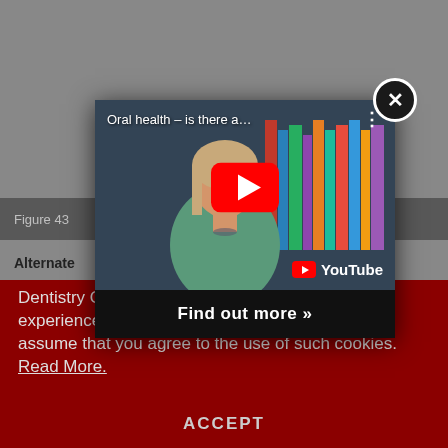[Figure (screenshot): YouTube video modal overlay showing 'Oral health – is there a...' video thumbnail with a woman in a green top, red play button, YouTube logo, and 'Find out more »' button below. A close (X) button appears in the top-right corner of the modal.]
Figure 43...
Alternate
Dentistry Online uses cookies to give the best experience. If you continue to use our site, we will assume that you agree to the use of such cookies. Read More.
ACCEPT